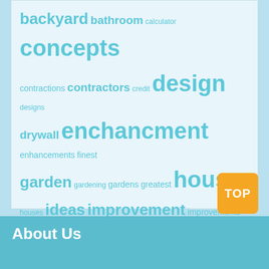[Figure (infographic): Tag cloud with home improvement related keywords in varying sizes indicating frequency/importance. Words include backyard, bathroom, calculator, concepts, contractions, contractors, credit, design, designs, drywall, enchancment, enhancements, finest, garden, gardening, gardens, greatest, house, houses, ideas, improvement, improvements, information, kitchen, loans, lowes, market, mortgage, price, prices, remodel, remodeling, renovation, repair, residence, restore, rework, reworking, service, small, toilet, transform, transforming, updates, value]
TOP
About Us